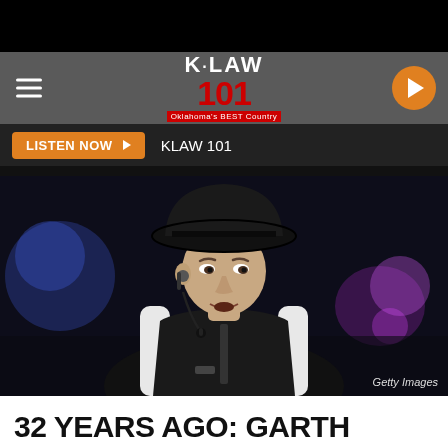[Figure (logo): K-LAW 101 radio station logo — red 101 numerals, white K-LAW text, tagline Oklahoma's BEST Country on red background]
LISTEN NOW ▶  KLAW 101
[Figure (photo): Garth Brooks wearing black cowboy hat and black vest over white long-sleeve shirt, performing with a headset microphone, stage lighting in background. Getty Images credit.]
Getty Images
32 YEARS AGO: GARTH BROOKS